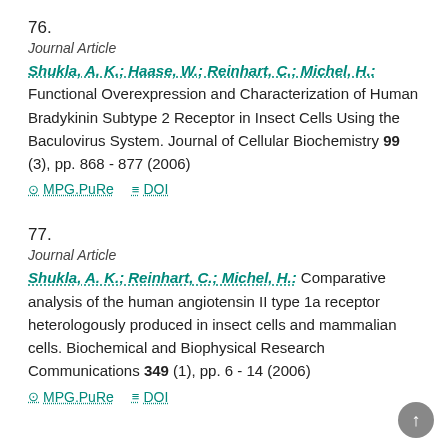76.
Journal Article
Shukla, A. K.; Haase, W.; Reinhart, C.; Michel, H.: Functional Overexpression and Characterization of Human Bradykinin Subtype 2 Receptor in Insect Cells Using the Baculovirus System. Journal of Cellular Biochemistry 99 (3), pp. 868 - 877 (2006)
MPG.PuRe   DOI
77.
Journal Article
Shukla, A. K.; Reinhart, C.; Michel, H.: Comparative analysis of the human angiotensin II type 1a receptor heterologously produced in insect cells and mammalian cells. Biochemical and Biophysical Research Communications 349 (1), pp. 6 - 14 (2006)
MPG.PuRe   DOI